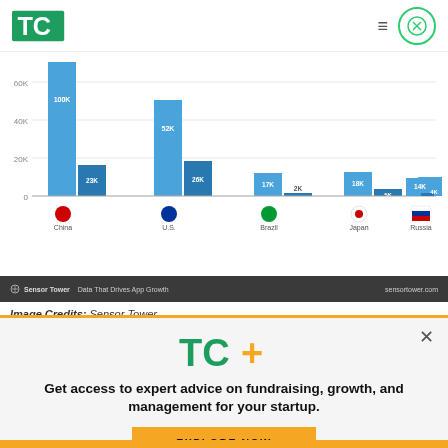TechCrunch logo, navigation menu, close button
[Figure (grouped-bar-chart): Median Daily Downloads for No. 10 Free App – Google Play]
Image Credits: Sensor Tower
Median Daily Downloads for No. 10 Free App – Google Play
[Figure (infographic): TechCrunch+ promotional modal with logo, text, and explore now button]
Get access to expert advice on fundraising, growth, and management for your startup.
EXPLORE NOW